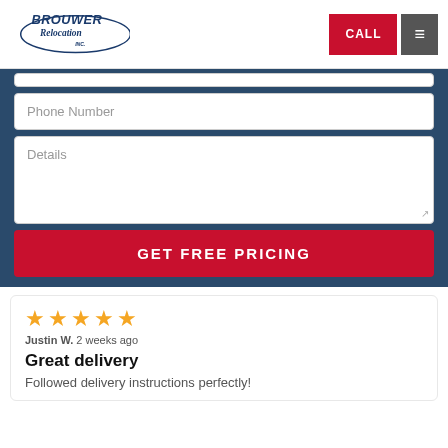[Figure (logo): Brouwer Relocation Inc. logo in blue with oval border]
CALL
≡
Phone Number
Details
GET FREE PRICING
★★★★★
Justin W. 2 weeks ago
Great delivery
Followed delivery instructions perfectly!